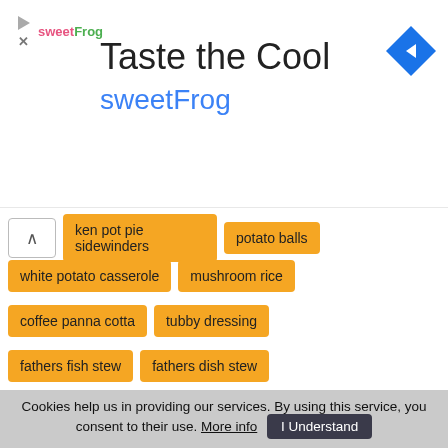[Figure (other): sweetFrog advertisement banner with logo, 'Taste the Cool' headline, 'sweetFrog' subtitle in blue, and Google Maps navigation icon]
ken pot pie sidewinders
potato balls
white potato casserole
mushroom rice
coffee panna cotta
tubby dressing
fathers fish stew
fathers dish stew
g garvin guacamole recipe
beef pie
New articles
5 tips on how to shop environmentally friendly at the supermarket...
Cookies help us in providing our services. By using this service, you consent to their use. More info  I Understand